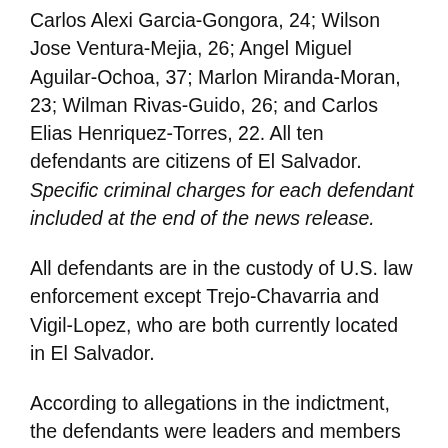Carlos Alexi Garcia-Gongora, 24; Wilson Jose Ventura-Mejia, 26; Angel Miguel Aguilar-Ochoa, 37; Marlon Miranda-Moran, 23; Wilman Rivas-Guido, 26; and Carlos Elias Henriquez-Torres, 22. All ten defendants are citizens of El Salvador. Specific criminal charges for each defendant included at the end of the news release.
All defendants are in the custody of U.S. law enforcement except Trejo-Chavarria and Vigil-Lopez, who are both currently located in El Salvador.
According to allegations in the indictment, the defendants were leaders and members of La Mara Salvatrucha (MS-13) and responsible for seven murders, one attempted murder and one murder conspiracy. The seven murders allegedly took place between 2015 and 2018 and included a range of victims to include the killing of a juvenile female and a police informant. The murders also included multiple acts of mutilation and